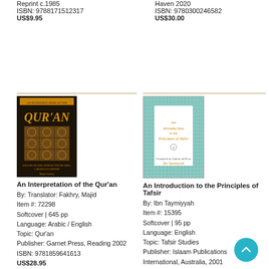Reprint c.1985
ISBN: 9788171512317
US$9.95
Haven 2020
ISBN: 9780300246582
US$30.00
[Figure (photo): Book cover of An Interpretation of the Qur'an - dark background with decorative Islamic pattern]
An Interpretation of the Qur'an
By: Translator: Fakhry, Majid
Item #: 72298
Softcover | 645 pp
Language: Arabic / English
Topic: Qur'an
Publisher: Garnet Press, Reading 2002
ISBN: 9781859641613
US$28.95
[Figure (photo): Book cover of An Introduction to the Principles of Tafsir - light teal/mint color with arch design and text by Ibn Taymiyyah]
An Introduction to the Principles of Tafsir
By: Ibn Taymiyyah
Item #: 15395
Softcover | 95 pp
Language: English
Topic: Tafsir Studies
Publisher: Islaam Publications International, Australia, 2001
ISBN:
US$6.00